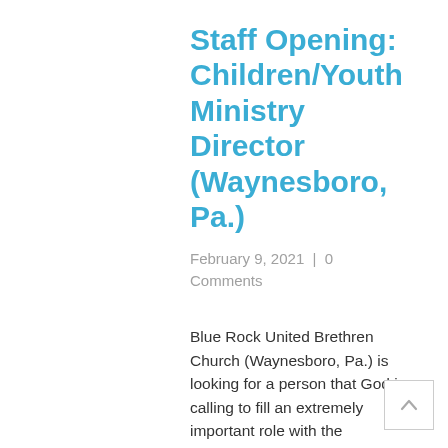Staff Opening: Children/Youth Ministry Director (Waynesboro, Pa.)
February 9, 2021  |  0 Comments
Blue Rock United Brethren Church (Waynesboro, Pa.) is looking for a person that God is calling to fill an extremely important role with the children/youth of our community. We are a rural church located 2 miles outside of the town of